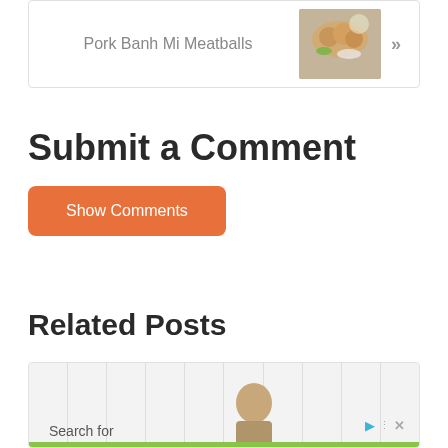[Figure (screenshot): Navigation box with text 'Pork Banh Mi Meatballs', a food thumbnail image, and a right-arrow chevron]
Submit a Comment
Show Comments
Related Posts
[Figure (screenshot): Advertisement/related posts box with striped background, person image, 'Search for' label, ad controls, and search result row '1. Leg Workouts For Men' with a go button, and a green bar at bottom]